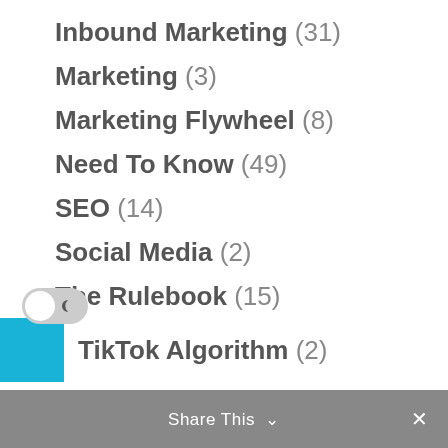Inbound Marketing (31)
Marketing (3)
Marketing Flywheel (8)
Need To Know (49)
SEO (14)
Social Media (2)
The Rulebook (15)
TikTok Algorithm (2)
Website Design (16)
WunderTRE(k) (9)
Share This  ×